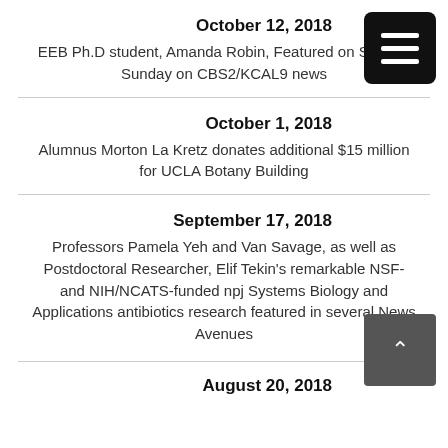October 12, 2018
EEB Ph.D student, Amanda Robin, Featured on STEAM Sunday on CBS2/KCAL9 news
October 1, 2018
Alumnus Morton La Kretz donates additional $15 million for UCLA Botany Building
September 17, 2018
Professors Pamela Yeh and Van Savage, as well as Postdoctoral Researcher, Elif Tekin's remarkable NSF- and NIH/NCATS-funded npj Systems Biology and Applications antibiotics research featured in several News Avenues
August 20, 2018